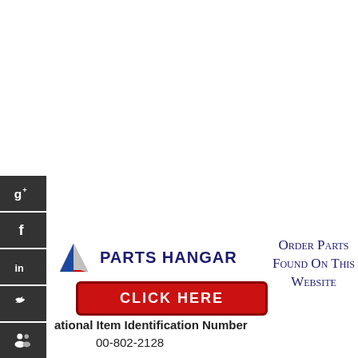[Figure (logo): Parts Hangar logo with stylized blue/silver aircraft nose and red click here button, with social media icons on the left side bar (Google+, Facebook, LinkedIn, Twitter, social sharing icons)]
Order Parts Found On This Website
ational Item Identification Number
00-802-2128